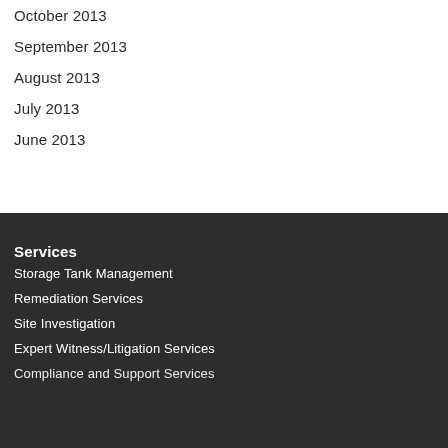October 2013
September 2013
August 2013
July 2013
June 2013
Services
Storage Tank Management
Remediation Services
Site Investigation
Expert Witness/Litigation Services
Compliance and Support Services